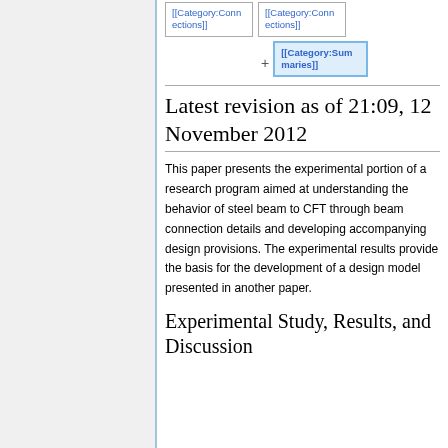[[Category:Connections]]
[[Category:Connections]]
[[Category:Summaries]]
Latest revision as of 21:09, 12 November 2012
This paper presents the experimental portion of a research program aimed at understanding the behavior of steel beam to CFT through beam connection details and developing accompanying design provisions. The experimental results provide the basis for the development of a design model presented in another paper.
Experimental Study, Results, and Discussion